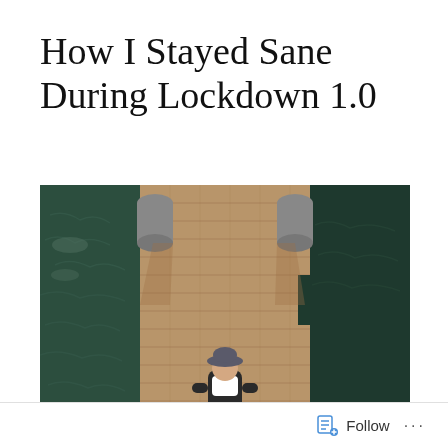How I Stayed Sane During Lockdown 1.0
[Figure (photo): Aerial/overhead view of a wooden dock/pier with a person lying on it wearing a hat and overalls, flanked by dark green water on both sides with bollards visible at the top]
Follow ...